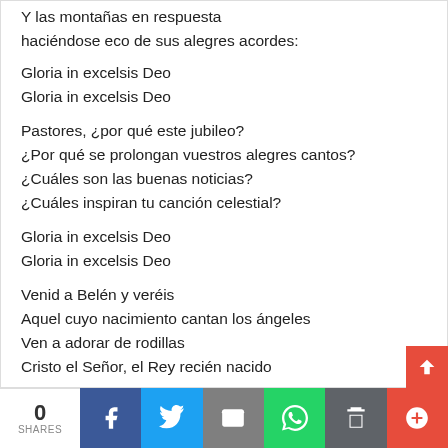Y las montañas en respuesta
haciéndose eco de sus alegres acordes:
Gloria in excelsis Deo
Gloria in excelsis Deo
Pastores, ¿por qué este jubileo?
¿Por qué se prolongan vuestros alegres cantos?
¿Cuáles son las buenas noticias?
¿Cuáles inspiran tu canción celestial?
Gloria in excelsis Deo
Gloria in excelsis Deo
Venid a Belén y veréis
Aquel cuyo nacimiento cantan los ángeles
Ven a adorar de rodillas
Cristo el Señor, el Rey recién nacido
0 SHARES | Facebook | Twitter | Email | WhatsApp | Print | Plus